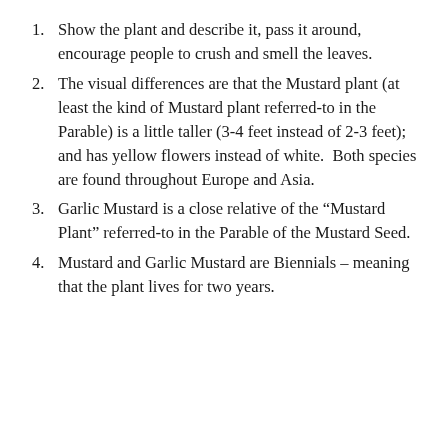Show the plant and describe it, pass it around, encourage people to crush and smell the leaves.
The visual differences are that the Mustard plant (at least the kind of Mustard plant referred-to in the Parable) is a little taller (3-4 feet instead of 2-3 feet); and has yellow flowers instead of white.  Both species are found throughout Europe and Asia.
Garlic Mustard is a close relative of the “Mustard Plant” referred-to in the Parable of the Mustard Seed.
Mustard and Garlic Mustard are Biennials – meaning that the plant lives for two years.